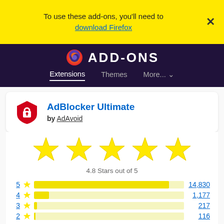To use these add-ons, you'll need to download Firefox
[Figure (screenshot): Firefox Add-ons site header with Firefox logo and ADD-ONS text on dark purple background, with Extensions, Themes, More navigation tabs]
AdBlocker Ultimate by AdAvoid
[Figure (infographic): 5 yellow star rating icons representing 4.8 out of 5 stars]
4.8 Stars out of 5
[Figure (bar-chart): Rating distribution]